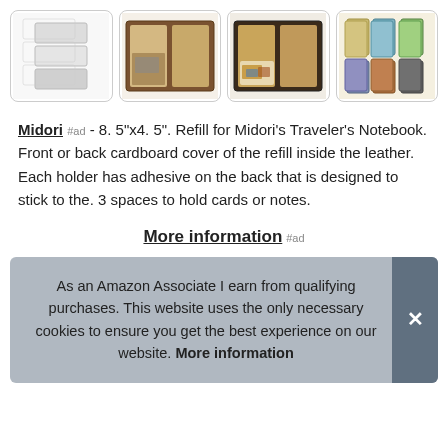[Figure (photo): Four product thumbnail images of Midori Traveler's Notebook refill and accessories]
Midori #ad - 8. 5"x4. 5". Refill for Midori's Traveler's Notebook. Front or back cardboard cover of the refill inside the leather. Each holder has adhesive on the back that is designed to stick to the. 3 spaces to hold cards or notes.
More information #ad
As an Amazon Associate I earn from qualifying purchases. This website uses the only necessary cookies to ensure you get the best experience on our website. More information
| Ma |  |
| Length | 8.6 Inches |